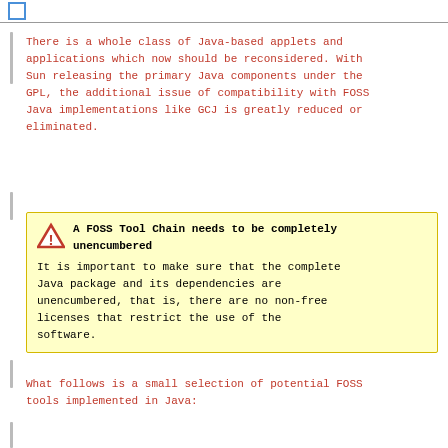There is a whole class of Java-based applets and applications which now should be reconsidered. With Sun releasing the primary Java components under the GPL, the additional issue of compatibility with FOSS Java implementations like GCJ is greatly reduced or eliminated.
A FOSS Tool Chain needs to be completely unencumbered
It is important to make sure that the complete Java package and its dependencies are unencumbered, that is, there are no non-free licenses that restrict the use of the software.
What follows is a small selection of potential FOSS tools implemented in Java: